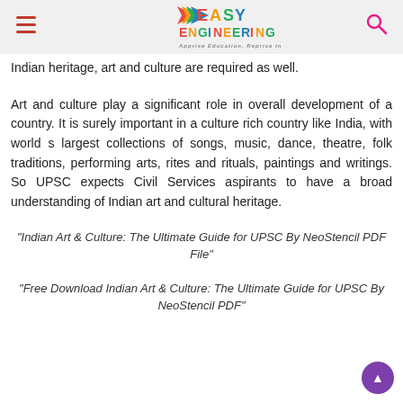Easy Engineering — Apprise Education, Reprise Innovations
Indian heritage, art and culture are required as well.
Art and culture play a significant role in overall development of a country. It is surely important in a culture rich country like India, with world s largest collections of songs, music, dance, theatre, folk traditions, performing arts, rites and rituals, paintings and writings. So UPSC expects Civil Services aspirants to have a broad understanding of Indian art and cultural heritage.
"Indian Art & Culture: The Ultimate Guide for UPSC By NeoStencil PDF File"
"Free Download Indian Art & Culture: The Ultimate Guide for UPSC By NeoStencil PDF"